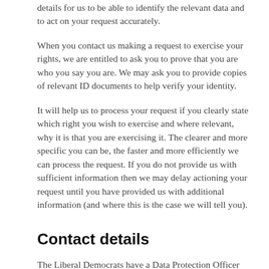details for us to be able to identify the relevant data and to act on your request accurately.
When you contact us making a request to exercise your rights, we are entitled to ask you to prove that you are who you say you are. We may ask you to provide copies of relevant ID documents to help verify your identity.
It will help us to process your request if you clearly state which right you wish to exercise and where relevant, why it is that you are exercising it. The clearer and more specific you can be, the faster and more efficiently we can process the request. If you do not provide us with sufficient information then we may delay actioning your request until you have provided us with additional information (and where this is the case we will tell you).
Contact details
The Liberal Democrats have a Data Protection Officer (DPO). The DPO is responsible for overseeing the data protection standards within the Party and making